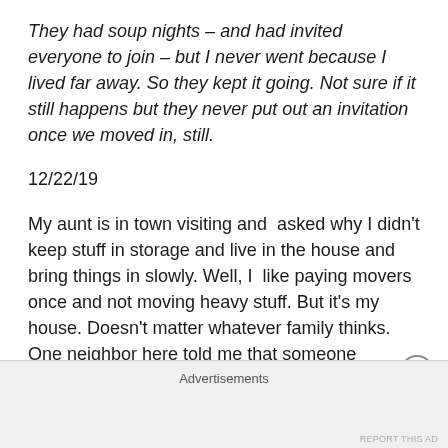They had soup nights – and had invited everyone to join – but I never went because I lived far away. So they kept it going. Not sure if it still happens but they never put out an invitation once we moved in, still.
12/22/19
My aunt is in town visiting and  asked why I didn't keep stuff in storage and live in the house and bring things in slowly. Well, I  like paying movers once and not moving heavy stuff. But it's my house. Doesn't matter whatever family thinks. One neighbor here told me that someone complains about his house  he tells them they are welcome to donate money for design changes. I love it
Advertisements